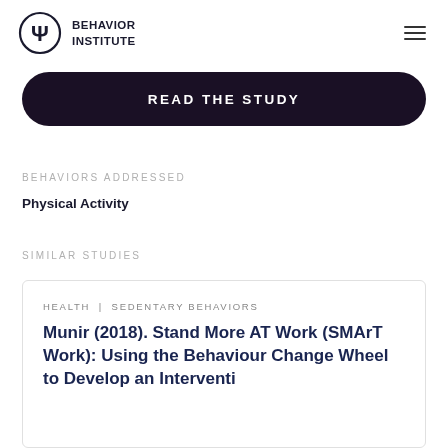[Figure (logo): Behavior Institute logo: circle with psi symbol and text BEHAVIOR INSTITUTE]
READ THE STUDY
BEHAVIORS ADDRESSED
Physical Activity
SIMILAR STUDIES
HEALTH | SEDENTARY BEHAVIORS
Munir (2018). Stand More AT Work (SMArT Work): Using the Behaviour Change Wheel to Develop an Intervention